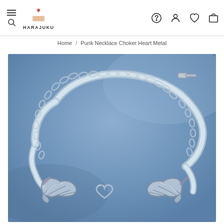HARAJUKU — navigation header with hamburger menu, search, logo, help, account, wishlist, cart icons
Home / Punk Necklace Choker Heart Metal
[Figure (photo): Close-up product photo of a silver punk choker necklace with a heart and angel wings pendant, displayed on a blue fabric background]